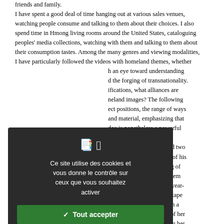friends and family. I have spent a good deal of time hanging out at various sales venues, watching people consume and talking to them about their choices. I also spend time in Hmong living rooms around the United States, cataloguing peoples' media collections, watching with them and talking to them about their consumption tastes. Among the many genres and viewing modalities, I have particularly followed the videos with homeland themes, whether with an eye toward understanding the forging of transnationality. ifications, what alliances are homeland images? The following ect positions, the range of ways and material, emphasizing that deo is nonetheless a powerful immigrant spaces. ther in Philadelphia to find two television, the focal point of his he tells me. "I am thinking of es on CD, so I can keep them or for me to sort, his two-year- own sorting. She extracts tape room carpet, glancing with a Finally she finds the one of her Video. Wordlessly nudging her e insists that he play the tape. oscope of dancing, singing and
[Figure (screenshot): Cookie consent popup overlay on a dark background. Contains icons, French text 'Ce site utilise des cookies et vous donne le contrôle sur ceux que vous souhaitez activer', a green 'Tout accepter' button, a red 'Tout refuser' button, a white 'Personnaliser' button, and a 'Politique de confidentialité' link.]